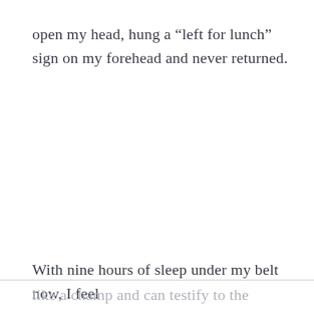open my head, hung a “left for lunch” sign on my forehead and never returned.
With nine hours of sleep under my belt now, I feel like a champ and can testify to the restorative